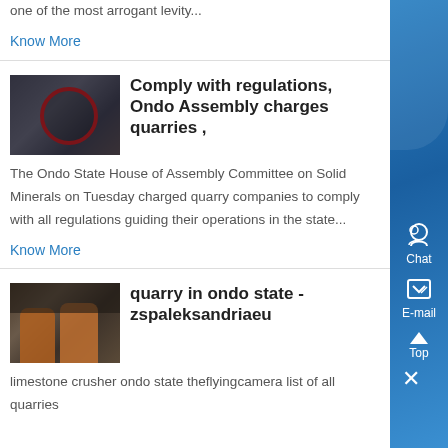one of the most arrogant levity...
Know More
Comply with regulations, Ondo Assembly charges quarries ,
[Figure (photo): Industrial machine, possibly a quarry crusher or motor unit, dark metallic machinery with red circular element]
The Ondo State House of Assembly Committee on Solid Minerals on Tuesday charged quarry companies to comply with all regulations guiding their operations in the state...
Know More
quarry in ondo state - zspaleksandriaeu
[Figure (photo): Industrial storage tanks or silos in an outdoor setting, orange/brown cylindrical tanks]
limestone crusher ondo state theflyingcamera list of all quarries